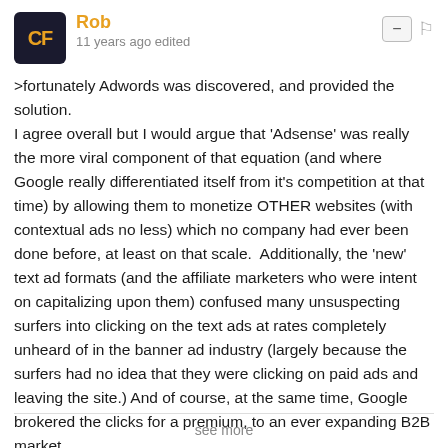Rob — 11 years ago edited
>fortunately Adwords was discovered, and provided the solution.
I agree overall but I would argue that 'Adsense' was really the more viral component of that equation (and where Google really differentiated itself from it's competition at that time) by allowing them to monetize OTHER websites (with contextual ads no less) which no company had ever been done before, at least on that scale.  Additionally, the 'new' text ad formats (and the affiliate marketers who were intent on capitalizing upon them) confused many unsuspecting surfers into clicking on the text ads at rates completely unheard of in the banner ad industry (largely because the surfers had no idea that they were clicking on paid ads and leaving the site.) And of course, at the same time, Google brokered the clicks for a premium, to an ever expanding B2B market.

It was a good racket for all of us, while it lasted:) My lifetime click-though average, after 3 years, was close to 15%.
see more